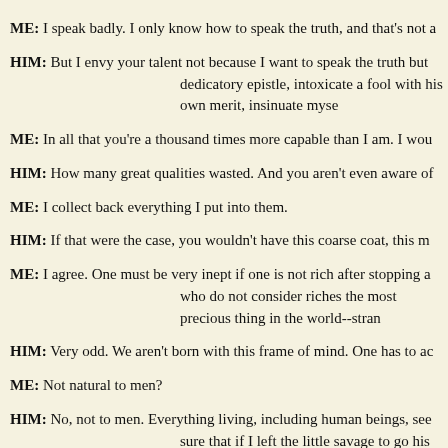ME: I speak badly. I only know how to speak the truth, and that's not a
HIM: But I envy your talent not because I want to speak the truth but ... dedicatory epistle, intoxicate a fool with his own merit, insinuate myse
ME: In all that you're a thousand times more capable than I am. I wou
HIM: How many great qualities wasted. And you aren't even aware of
ME: I collect back everything I put into them.
HIM: If that were the case, you wouldn't have this coarse coat, this m
ME: I agree. One must be very inept if one is not rich after stopping a... who do not consider riches the most precious thing in the world--stran
HIM: Very odd. We aren't born with this frame of mind. One has to ac
ME: Not natural to men?
HIM: No, not to men. Everything living, including human beings, see... sure that if I left the little savage to go his own way, without speaking ... liked by men, and adored by women, and would like to gather round h
ME: If the little savage were left to himself so that he retained all his i... with the passionate violence in a man thirty years old, he'd wring his fa
HIM: That proves the need for a good education. Who'll argue about t